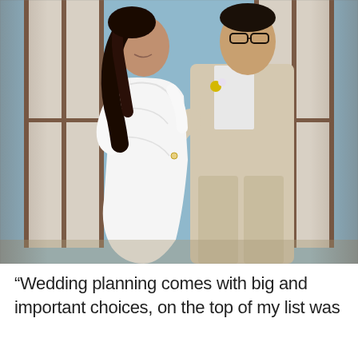[Figure (photo): Wedding photo of a bride in a white lace long-sleeve mermaid gown and groom in a beige/tan suit with a yellow boutonniere, embracing in front of white French doors with a blue sky background.]
“Wedding planning comes with big and important choices, on the top of my list was